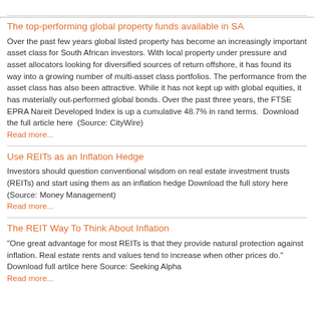The top-performing global property funds available in SA
Over the past few years global listed property has become an increasingly important asset class for South African investors. With local property under pressure and asset allocators looking for diversified sources of return offshore, it has found its way into a growing number of multi-asset class portfolios. The performance from the asset class has also been attractive. While it has not kept up with global equities, it has materially out-performed global bonds. Over the past three years, the FTSE EPRA Nareit Developed Index is up a cumulative 48.7% in rand terms.  Download the full article here  (Source: CityWire)
Read more...
Use REITs as an Inflation Hedge
Investors should question conventional wisdom on real estate investment trusts (REITs) and start using them as an inflation hedge Download the full story here (Source: Money Management)
Read more...
The REIT Way To Think About Inflation
"One great advantage for most REITs is that they provide natural protection against inflation. Real estate rents and values tend to increase when other prices do." Download full artilce here Source: Seeking Alpha
Read more...